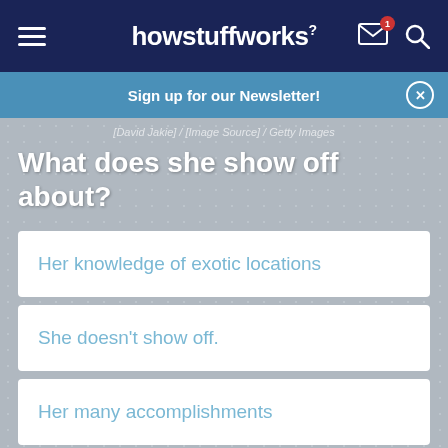howstuffworks
Sign up for our Newsletter!
[David Jakie] / [Image Source] / Getty Images
What does she show off about?
Her knowledge of exotic locations
She doesn't show off.
Her many accomplishments